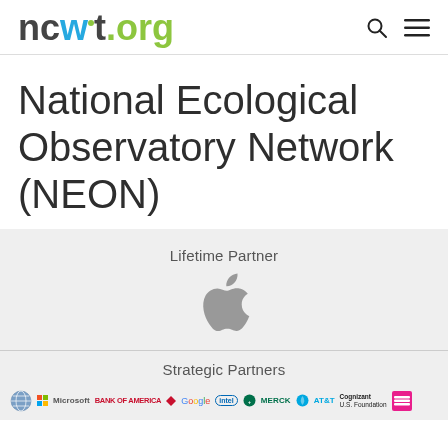ncwit.org
National Ecological Observatory Network (NEON)
Lifetime Partner
[Figure (logo): Apple logo in gray]
Strategic Partners
[Figure (logo): Row of strategic partner logos: globe icon, Microsoft, Bank of America, Google, Intel, Merck, AT&T, Cognizant U.S. Foundation, and another logo]